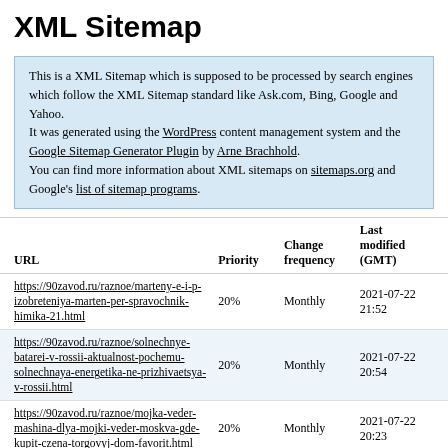XML Sitemap
This is a XML Sitemap which is supposed to be processed by search engines which follow the XML Sitemap standard like Ask.com, Bing, Google and Yahoo.
It was generated using the WordPress content management system and the Google Sitemap Generator Plugin by Arne Brachhold.
You can find more information about XML sitemaps on sitemaps.org and Google's list of sitemap programs.
| URL | Priority | Change frequency | Last modified (GMT) |
| --- | --- | --- | --- |
| https://90zavod.ru/raznoe/marteny-e-i-p-izobreteniya-marten-per-spravochnik-himika-21.html | 20% | Monthly | 2021-07-22 21:52 |
| https://90zavod.ru/raznoe/solnechnye-batarei-v-rossii-aktualnost-pochemu-solnechnaya-energetika-ne-prizhivaetsya-v-rossii.html | 20% | Monthly | 2021-07-22 20:54 |
| https://90zavod.ru/raznoe/mojka-veder-mashina-dlya-mojki-veder-moskva-gde-kupit-czena-torgovyj-dom-favorit.html | 20% | Monthly | 2021-07-22 20:23 |
| https://90zavod.ru/stanok-2/stanok-po-... | 20% | Monthly | 2021-07-22 ... |